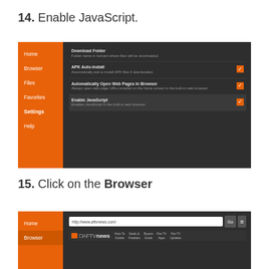14. Enable JavaScript.
[Figure (screenshot): Screenshot of a browser settings screen showing sidebar with Home, Browser, Files, Favorites, Settings (selected), Help items in orange. Main panel shows settings: Download Folder, APK Auto-Install (checked), Automatically Open Web Pages In Browser (checked), Enable JavaScript (checked and highlighted).]
15. Click on the Browser
[Figure (screenshot): Screenshot of a browser with sidebar showing Home and Browser (active) items. The main content shows a browser navigation bar with URL http://www.aftvnews.com/ and a Go button and menu button. Below is the AFTVnews website header with navigation items How-To Guides, Deals & Freebies, Buyers Guide, Fire TV Apps, Fire TV Updates.]